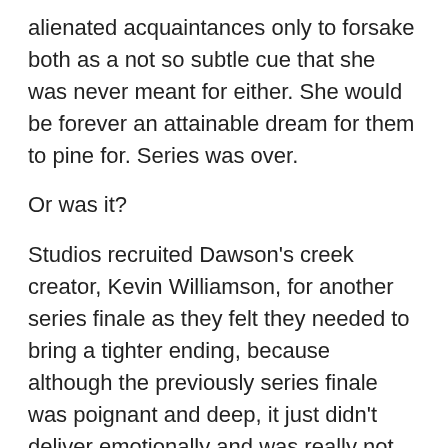alienated acquaintances only to forsake both as a not so subtle cue that she was never meant for either. She would be forever an attainable dream for them to pine for. Series was over.
Or was it?
Studios recruited Dawson's creek creator, Kevin Williamson, for another series finale as they felt they needed to bring a tighter ending, because although the previously series finale was poignant and deep, it just didn't deliver emotionally and was really not such a good ending for anyone: not for the characters and certainly not for the audience, but most importantly — Joey had to choose, as was evident from the